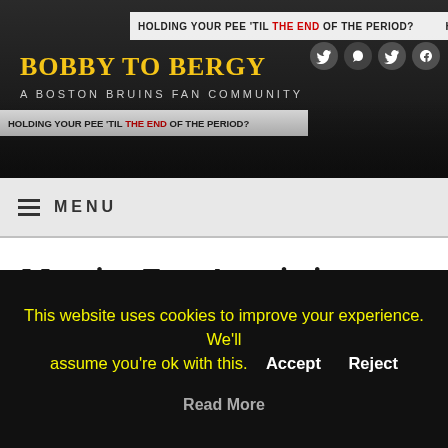Bobby to Bergy — A Boston Bruins Fan Community
[Figure (screenshot): Website header banner showing Bobby to Bergy blog with Boston Bruins fan community tagline, scoreboard text reading 'HOLDING YOUR PEE TIL THE END OF THE PERIOD?' and social media icons]
≡ MENU
Morning Free Association: Playoffs Begin Tonight!
By the german hammer | May 2, 2022 | Morning Free Associations
Embed from Getty Images
This website uses cookies to improve your experience. We'll assume you're ok with this. Accept Reject Read More